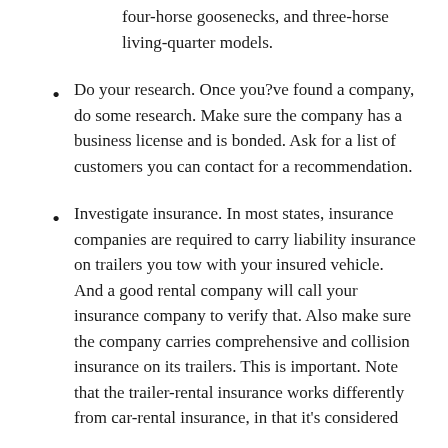four-horse goosenecks, and three-horse living-quarter models.
Do your research. Once you?ve found a company, do some research. Make sure the company has a business license and is bonded. Ask for a list of customers you can contact for a recommendation.
Investigate insurance. In most states, insurance companies are required to carry liability insurance on trailers you tow with your insured vehicle. And a good rental company will call your insurance company to verify that. Also make sure the company carries comprehensive and collision insurance on its trailers. This is important. Note that the trailer-rental insurance works differently from car-rental insurance, in that it's considered